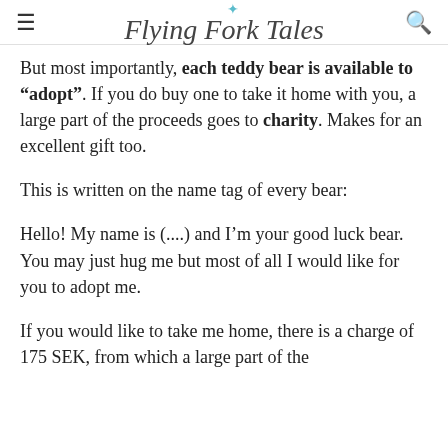Flying Fork Tales
But most importantly, each teddy bear is available to “adopt”. If you do buy one to take it home with you, a large part of the proceeds goes to charity. Makes for an excellent gift too.
This is written on the name tag of every bear:
Hello! My name is (....) and I’m your good luck bear. You may just hug me but most of all I would like for you to adopt me.
If you would like to take me home, there is a charge of 175 SEK, from which a large part of the